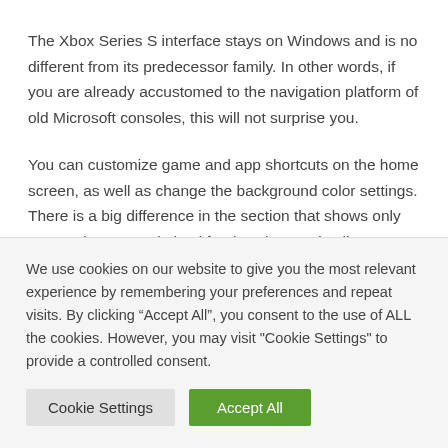The Xbox Series S interface stays on Windows and is no different from its predecessor family. In other words, if you are already accustomed to the navigation platform of old Microsoft consoles, this will not surprise you.
You can customize game and app shortcuts on the home screen, as well as change the background color settings. There is a big difference in the section that shows only games that are optimized for the Xbox Series line.
We use cookies on our website to give you the most relevant experience by remembering your preferences and repeat visits. By clicking “Accept All”, you consent to the use of ALL the cookies. However, you may visit "Cookie Settings" to provide a controlled consent.